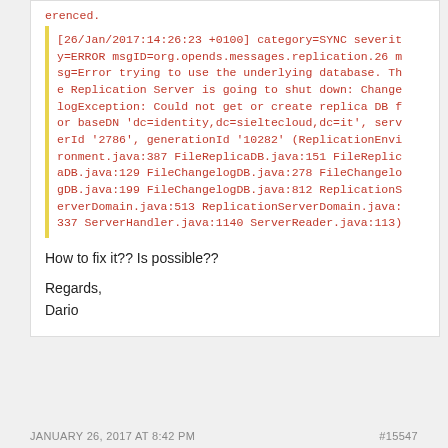erenced.
[26/Jan/2017:14:26:23 +0100] category=SYNC severity=ERROR msgID=org.opends.messages.replication.26 msg=Error trying to use the underlying database. The Replication Server is going to shut down: ChangelogException: Could not get or create replica DB for baseDN 'dc=identity,dc=sieltecloud,dc=it', serverId '2786', generationId '10282' (ReplicationEnvironment.java:387 FileReplicaDB.java:151 FileReplicaDB.java:129 FileChangelogDB.java:278 FileChangelogDB.java:199 FileChangelogDB.java:812 ReplicationServerDomain.java:513 ReplicationServerDomain.java:337 ServerHandler.java:1140 ServerReader.java:113)
How to fix it?? Is possible??
Regards,
Dario
JANUARY 26, 2017 AT 8:42 PM    #15547